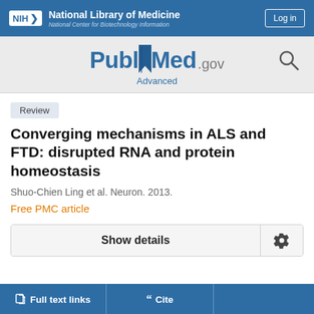NIH National Library of Medicine National Center for Biotechnology Information
[Figure (logo): PubMed.gov logo with bookmark icon and search icon]
Advanced
Review
Converging mechanisms in ALS and FTD: disrupted RNA and protein homeostasis
Shuo-Chien Ling et al. Neuron. 2013.
Free PMC article
Show details
Full text links
Cite